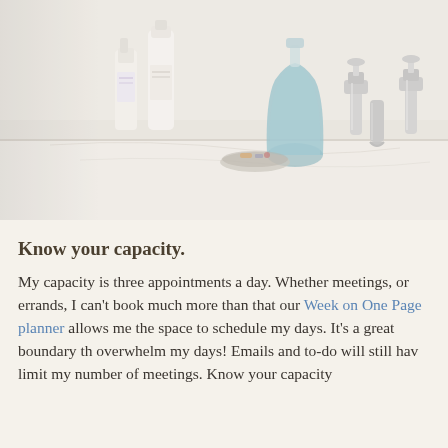[Figure (photo): Bathroom countertop with toiletry bottles, a blue glass soap dispenser, chrome faucet fixtures on white marble surface]
Know your capacity.
My capacity is three appointments a day. Whether meetings, or errands, I can't book much more than that our Week on One Page planner allows me the space to schedule my days. It's a great boundary th overwhelm my days! Emails and to-do will still hav limit my number of meetings. Know your capacity